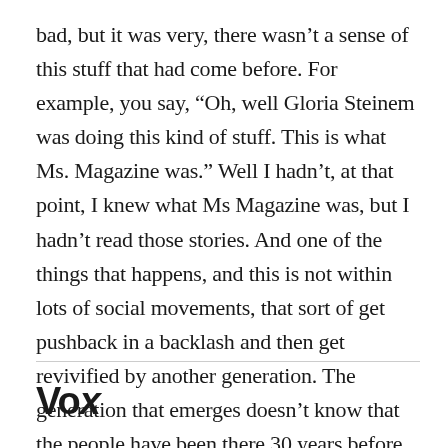bad, but it was very, there wasn't a sense of this stuff that had come before. For example, you say, “Oh, well Gloria Steinem was doing this kind of stuff. This is what Ms. Magazine was.” Well I hadn’t, at that point, I knew what Ms Magazine was, but I hadn’t read those stories. And one of the things that happens, and this is not within lots of social movements, that sort of get pushback in a backlash and then get revivified by another generation. The generation that emerges doesn’t know that the people have been there 30 years before. And I think that’s okay, by the way, and I think there are frustrations, that’s part of what leads to
Vox